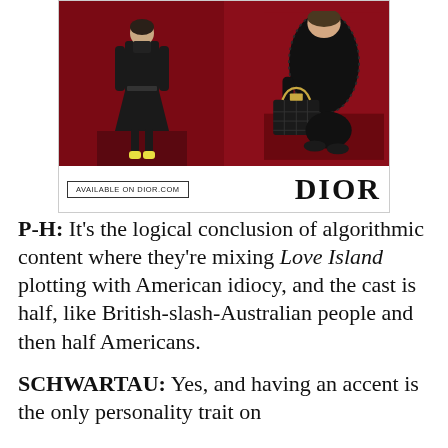[Figure (photo): Dior advertisement showing two fashion photos on a dark red background. Left: a figure in a long black dress/coat. Right: a seated figure in black lace holding a Lady Dior handbag. Below the images: a box reading 'AVAILABLE ON DIOR.COM' and the 'DIOR' logo in large serif lettering.]
P-H: It’s the logical conclusion of algorithmic content where they’re mixing Love Island plotting with American idiocy, and the cast is half, like British-slash-Australian people and then half Americans.
SCHWARTAU: Yes, and having an accent is the only personality trait on